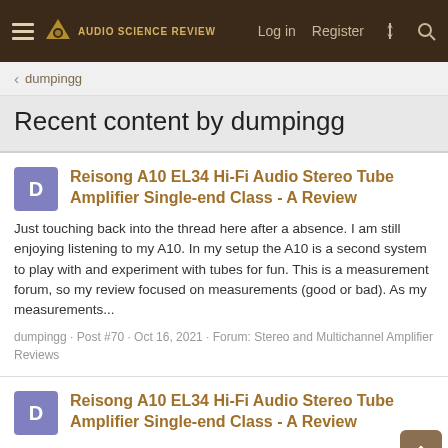Audio Science Review — Log in | Register
dumpingg
Recent content by dumpingg
Reisong A10 EL34 Hi-Fi Audio Stereo Tube Amplifier Single-end Class - A Review
Just touching back into the thread here after a absence. I am still enjoying listening to my A10. In my setup the A10 is a second system to play with and experiment with tubes for fun. This is a measurement forum, so my review focused on measurements (good or bad). As my measurements...
dumpingg · Post #70 · Oct 16, 2021 · Forum: Stereo and Multichannel Amplifier Reviews
Reisong A10 EL34 Hi-Fi Audio Stereo Tube Amplifier Single-end Class - A Review
ctakim, I don't think I stated that there is any rare breed magic happening here. I too am experimenting with the tube amp as a second system. With the higher distoration numbers that I measured and graphed it does impact the sound. However, the